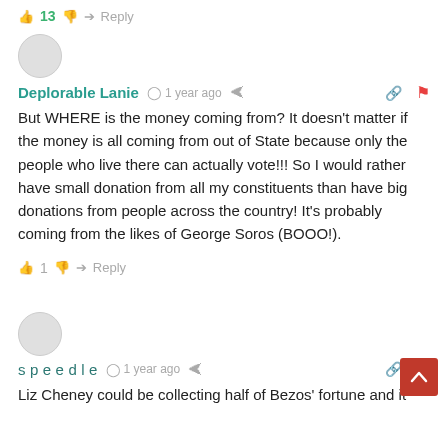👍 13 👎 → Reply
Deplorable Lanie  1 year ago
But WHERE is the money coming from? It doesn't matter if the money is all coming from out of State because only the people who live there can actually vote!!! So I would rather have small donation from all my constituents than have big donations from people across the country! It's probably coming from the likes of George Soros (BOOO!).
👍 1 👎 → Reply
speedle  1 year ago
Liz Cheney could be collecting half of Bezos' fortune and it